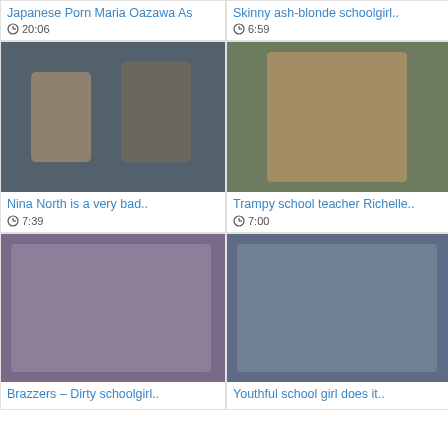[Figure (screenshot): Video thumbnail placeholder - top left]
Japanese Porn Maria Oazawa As
⊙ 20:06
[Figure (screenshot): Video thumbnail placeholder - top right]
Skinny ash-blonde schoolgirl..
⊙ 6:59
[Figure (photo): Video thumbnail - Nina North scene]
Nina North is a very bad..
⊙ 7:39
[Figure (photo): Video thumbnail - Trampy school teacher Richelle scene]
Trampy school teacher Richelle..
⊙ 7:00
[Figure (photo): Video thumbnail - Brazzers schoolgirl scene]
Brazzers – Dirty schoolgirl..
[Figure (photo): Video thumbnail - Youthful school girl scene]
Youthful school girl does it..